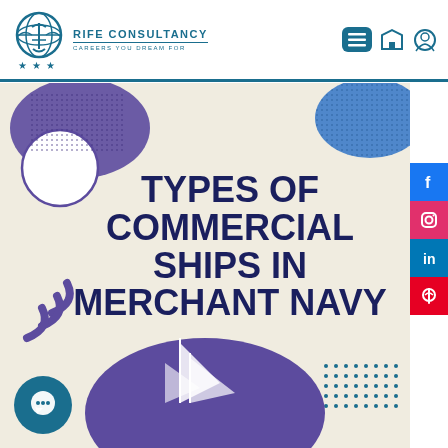[Figure (logo): Rife Consultancy logo - globe with anchor, stars below, teal color scheme]
Rife Consultancy | Careers you dream for
[Figure (infographic): Types of Commercial Ships in Merchant Navy - banner with decorative circular shapes, title text, ship illustration, and social media sidebar icons (Facebook, Instagram, LinkedIn, Pinterest)]